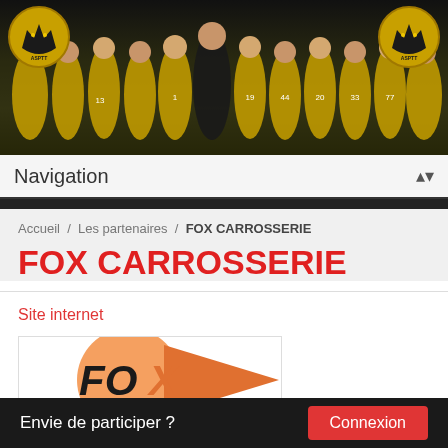[Figure (photo): Team photo of handball players in yellow and black jerseys, with two wolf logos on either side]
Navigation
Accueil / Les partenaires / FOX CARROSSERIE
FOX CARROSSERIE
Site internet
[Figure (logo): FOX CARROSSERIE logo with orange circle and arrow/fox graphic]
Envie de participer ?
Connexion